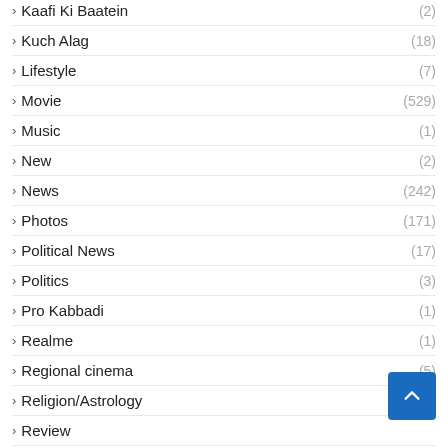› Kaafi Ki Baatein (2)
› Kuch Alag (18)
› Lifestyle (7)
› Movie (529)
› Music (1)
› New (2)
› News (242)
› Photos (171)
› Political News (17)
› Politics (3)
› Pro Kabbadi (1)
› Realme (1)
› Regional cinema (5)
› Religion/Astrology (17)
› Review
› Science (3)